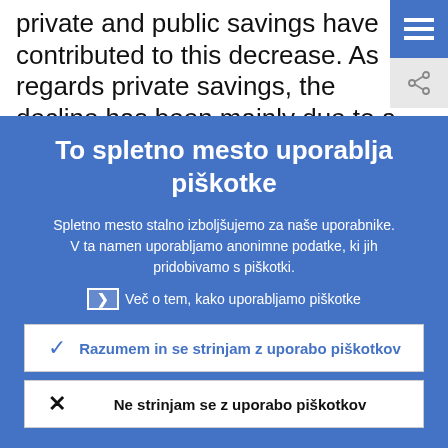private and public savings have contributed to this decrease. As regards private savings, the decline has been mainly due to a drop in net
To spletno mesto uporablja piškotke
Spletno mesto stalno izboljšujemo za naše uporabnike. V ta namen uporabljamo anonimne podatke, ki jih pridobivamo s piškotki.
Več o tem, kako uporabljamo piškotke
Razumem in se strinjam z uporabo piškotkov
Ne strinjam se z uporabo piškotkov